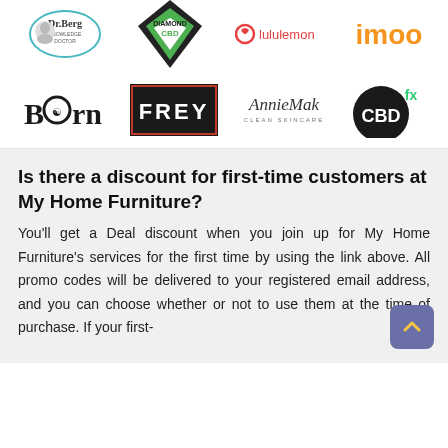[Figure (logo): Dr. Berg logo - circular teal border with man illustration and Dr.Berg text]
[Figure (logo): Diamond CBD logo - green and black diamond shape with DIAMOND CBD text]
[Figure (logo): lululemon logo - red circle icon with lululemon text in red]
[Figure (logo): imoo logo - orange bold text]
[Figure (logo): Born logo - serif bold text with o containing a symbol]
[Figure (logo): FREY logo - white text on black background with red border]
[Figure (logo): AnnieMak Clean Skincare logo - italic script with subtitle]
[Figure (logo): CBDfx logo - black circle with CBD text and green FX superscript]
Is there a discount for first-time customers at My Home Furniture?
You'll get a Deal discount when you join up for My Home Furniture's services for the first time by using the link above. All promo codes will be delivered to your registered email address, and you can choose whether or not to use them at the time of purchase. If your first-